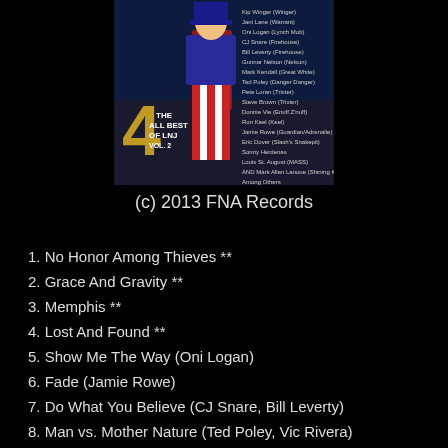[Figure (photo): Album cover for 'The All Best of LNJ Vol. 2' - 2013 FNA Records. Features a figure in patriotic red/white/blue striped outfit with a large '4' and text listing artist names including Kip Winger, Jani Lane, Oni Logan, CJ Snare, Bill Leverty, Gunnar Nelson, Mark Kendall, Ted Poley, Pete Loran, Steve Brown, Donnie Vie, Ron Keel, Jamie Rowe, Eric Dover, Sonny Herdenas, Louis St. August, and others.]
(c) 2013 FNA Records
1. No Honor Among Thieves **
2. Grace And Gravity **
3. Memphis **
4. Lost And Found **
5. Show Me The Way (Oni Logan)
6. Fade (Jamie Rowe)
7. Do What You Believe (CJ Snare, Bill Leverty)
8. Man vs. Mother Nature (Ted Poley, Vic Rivera)
9. Wrestling With God (Pete Loran, Steve Brown, Ron "Bumblefoot" Thal)